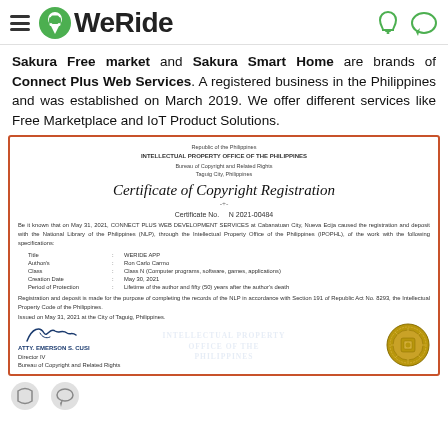WeRide
Sakura Free market and Sakura Smart Home are brands of Connect Plus Web Services. A registered business in the Philippines and was established on March 2019. We offer different services like Free Marketplace and IoT Product Solutions.
[Figure (other): Certificate of Copyright Registration from the Intellectual Property Office of the Philippines. Certificate No. N 2021-00484. Issued to CONNECT PLUS WEB DEVELOPMENT SERVICES in Cabanatuan City, Nueva Ecija. Title: WERIDE APP, Author/s: Ron Carlo Carmo, Class: Class N (Computer programs, software, games, applications), Creation Date: May 30, 2021, Period of Protection: Lifetime of the author and fifty (50) years after the author's death. Signed by ATTY. EMERSON S. CUSI, Director IV, Bureau of Copyright and Related Rights. Issued on May 31, 2021 at the City of Taguig, Philippines.]
[Figure (other): Partial view of bottom icons (share/comment icons)]